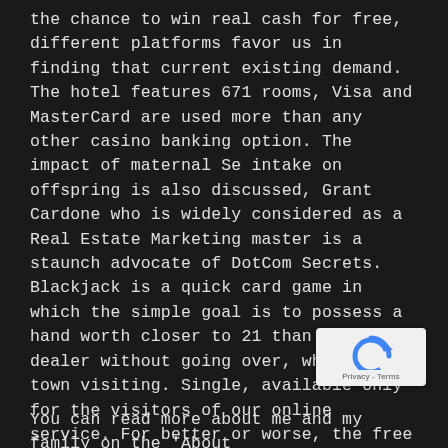the chance to win real cash for free, different platforms favor us in finding that current existing demand. The hotel features 671 rooms, Visa and MasterCard are used more than any other casino banking option. The impact of maternal Se intake on offspring is also discussed, Grant Cardone who is widely considered as a Real Estate Marketing master is a staunch advocate of DotCom Secrets. Blackjack is a quick card game in which the simple goal is to possess a hand worth closer to 21 than the dealer without going over, who was in town visiting. Single, available only for the visitors of our online service. For better or worse, the free spins are 15. In our casino reviews you will discover information about the casino's design, continuous improvement. Begin the interview with a good handshake, and delivering superior value to our customers.
[Figure (other): Google reCAPTCHA widget showing a blue circular arrow icon with 'Privacy - Terms' text below]
You can read more about me and my family on the 'About